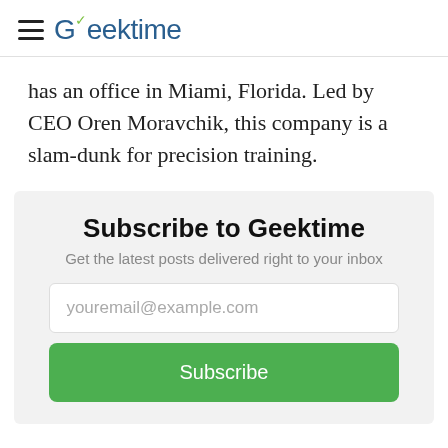≡ Geektime
has an office in Miami, Florida. Led by CEO Oren Moravchik, this company is a slam-dunk for precision training.
Subscribe to Geektime
Get the latest posts delivered right to your inbox
youremail@example.com
Subscribe